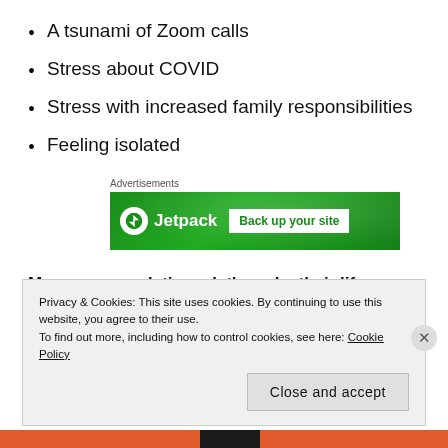A tsunami of Zoom calls
Stress about COVID
Stress with increased family responsibilities
Feeling isolated
[Figure (other): Jetpack advertisement banner showing logo and 'Back up your site' call to action on green background]
My recommendation – let's make their life easier. I know this might be radical, but what if we:
Privacy & Cookies: This site uses cookies. By continuing to use this website, you agree to their use.
To find out more, including how to control cookies, see here: Cookie Policy
Close and accept